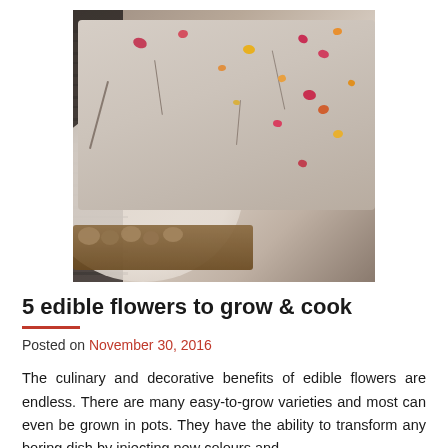[Figure (photo): Close-up photo of a cake or bread topped with edible flower petals (pink, magenta, yellow, orange) and herb seeds/flakes, sitting on a white plate with walnut pieces visible at the bottom edge. Dark wooden background on the left side.]
5 edible flowers to grow & cook
Posted on November 30, 2016
The culinary and decorative benefits of edible flowers are endless. There are many easy-to-grow varieties and most can even be grown in pots. They have the ability to transform any boring dish by injecting new colours and